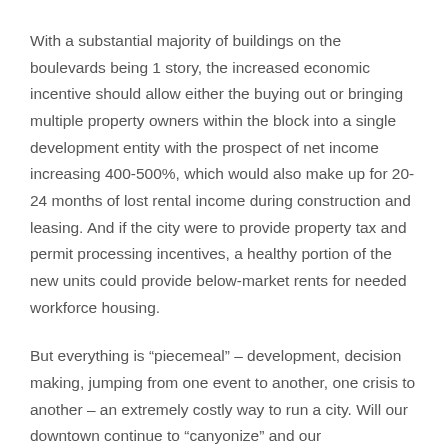With a substantial majority of buildings on the boulevards being 1 story, the increased economic incentive should allow either the buying out or bringing multiple property owners within the block into a single development entity with the prospect of net income increasing 400-500%, which would also make up for 20-24 months of lost rental income during construction and leasing. And if the city were to provide property tax and permit processing incentives, a healthy portion of the new units could provide below-market rents for needed workforce housing.
But everything is “piecemeal” – development, decision making, jumping from one event to another, one crisis to another – an extremely costly way to run a city. Will our downtown continue to “canyonize” and our neighborhood boulevards fill with block buildings! Our mantra has been economic gain at the expense of residents and our environment. Will our council continue to listen to tourists and developers ahead of residents? I realize there are